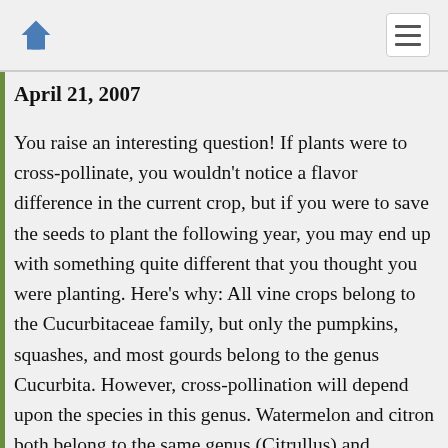navigation bar with home icon and menu icon
April 21, 2007
You raise an interesting question! If plants were to cross-pollinate, you wouldn't notice a flavor difference in the current crop, but if you were to save the seeds to plant the following year, you may end up with something quite different that you thought you were planting. Here's why: All vine crops belong to the Cucurbitaceae family, but only the pumpkins, squashes, and most gourds belong to the genus Cucurbita. However, cross-pollination will depend upon the species in this genus. Watermelon and citron both belong to the same genus (Citrullus) and therefore will cross-pollinate each other. Muskmelons and Casaba melons will cross, since they are both in the same genus (Cucumis) and also the same species